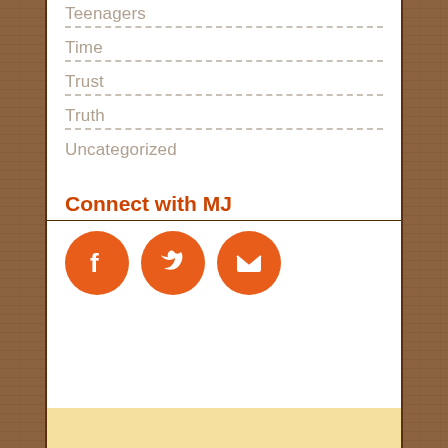Teenagers
Time
Trust
Truth
Uncategorized
Connect with MJ
[Figure (infographic): Three orange circular social media icons: Facebook (F), Twitter (bird), and Email (envelope)]